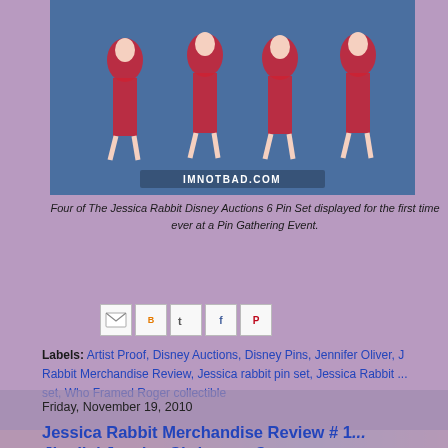[Figure (photo): Photo of Jessica Rabbit Disney Auctions pins displayed against a blue background, with IMNOTBAD.COM watermark]
Four of The Jessica Rabbit Disney Auctions 6 Pin Set displayed for the first time ever at a Pin Gathering Event.
CLICK HERE TO VIEW THE FULL ARTICLE >>>
[Figure (screenshot): Social sharing icons: Email, BlogThis, Twitter, Facebook, Pinterest]
Labels: Artist Proof, Disney Auctions, Disney Pins, Jennifer Oliver, Jessica Rabbit Merchandise Review, Jessica rabbit pin set, Jessica Rabbit set, Who Framed Roger collectible
Friday, November 19, 2010
Jessica Rabbit Merchandise Review # 1... Jinglin' Jessica Christmas Ornament